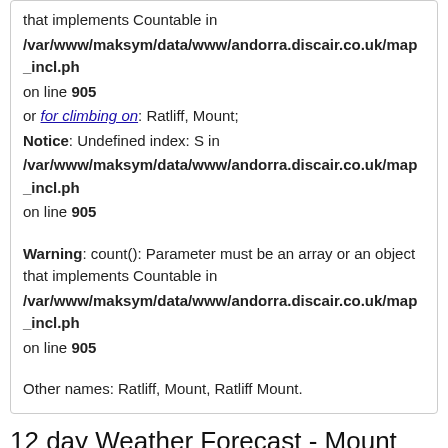that implements Countable in /var/www/maksym/data/www/andorra.discair.co.uk/map_incl.ph on line 905 or for climbing on: Ratliff, Mount; Notice: Undefined index: S in /var/www/maksym/data/www/andorra.discair.co.uk/map_incl.ph on line 905 Warning: count(): Parameter must be an array or an object that implements Countable in /var/www/maksym/data/www/andorra.discair.co.uk/map_incl.ph on line 905 Other names: Ratliff, Mount, Ratliff Mount.
12 day Weather Forecast - Mount Ratliff, Mount
[Figure (other): Weather icon showing cloud with snowflakes for WED 31.08]